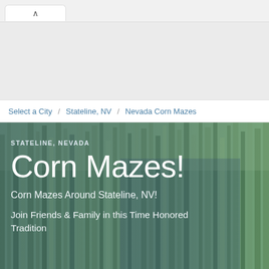Browser chrome / navigation tab
[Figure (screenshot): Gray header/ad space area at top of webpage]
Select a City / Stateline, NV / Nevada Corn Mazes
[Figure (photo): Hero image of a family (man, woman, child) standing among tall corn stalks in a corn maze. The image has a blue-tinted overlay on the left side with white text overlay.]
STATELINE, NEVADA
Corn Mazes!
Corn Mazes Around Stateline, NV!
Join Friends & Family in this Time Honored Tradition